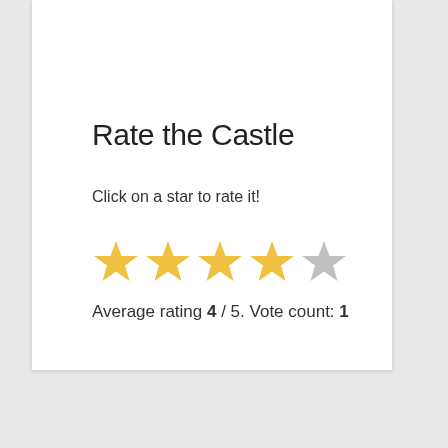Rate the Castle
Click on a star to rate it!
[Figure (infographic): 5-star rating widget showing 4 filled yellow stars and 1 empty grey star]
Average rating 4 / 5. Vote count: 1